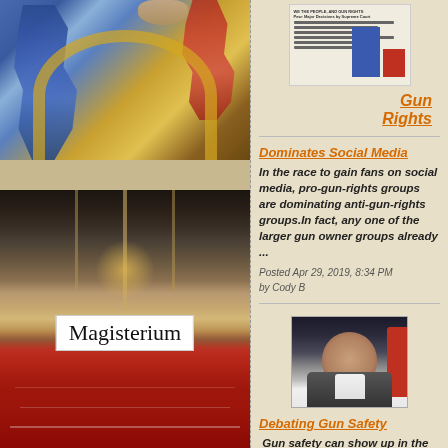[Figure (photo): Religious icon painting showing figures in blue and red robes with gold/yellow arch background]
[Figure (photo): Text overlay on image reading 'Magisterium' in serif font on white box]
[Figure (photo): Interior of a large cathedral (likely St. Peter's Basilica) with red-robed clergy assembled]
[Figure (other): Thumbnail image showing a bar chart about gun rights with blue and red bars and table of text]
Gun Rights
Dominates Social Media
In the race to gain fans on social media, pro-gun-rights groups are dominating anti-gun-rights groups.In fact, any one of the larger gun owner groups already ...
Posted Apr 29, 2019, 8:34 PM
by Cody B
[Figure (photo): Photo of a man in dark jacket speaking or gesturing at a debate event, with red background accents]
Debating Gun Safety
Gun safety can show up in the most unexpected places! I was listening to a debate between Jordan